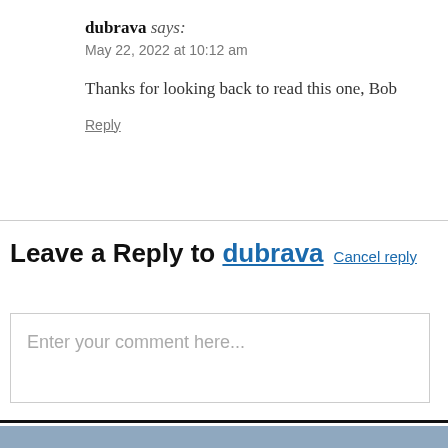dubrava says:
May 22, 2022 at 10:12 am
Thanks for looking back to read this one, Bob
Reply
Leave a Reply to dubrava Cancel reply
Enter your comment here...
Holding the Light